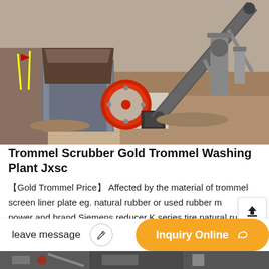[Figure (photo): Aerial/overhead photograph of a trommel scrubber gold washing plant on a construction/mining site. Shows a jaw crusher machine with a red flywheel, conveyor belt, and earthen terrain in background.]
Trommel Scrubber Gold Trommel Washing Plant Jxsc
【Gold Trommel Price】 Affected by the material of trommel screen liner plate eg. natural rubber or used rubber m power and brand Siemens reducer K series tire natural rubber pneumatic tire trommel thickness electrical cabinet variable frequency etc. JXSC...